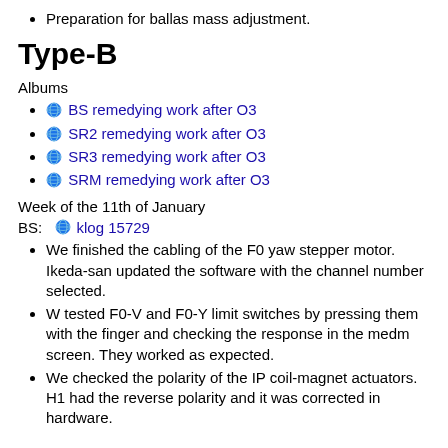Preparation for ballas mass adjustment.
Type-B
Albums
BS remedying work after O3
SR2 remedying work after O3
SR3 remedying work after O3
SRM remedying work after O3
Week of the 11th of January
BS:  klog 15729
We finished the cabling of the F0 yaw stepper motor. Ikeda-san updated the software with the channel number selected.
W tested F0-V and F0-Y limit switches by pressing them with the finger and checking the response in the medm screen. They worked as expected.
We checked the polarity of the IP coil-magnet actuators. H1 had the reverse polarity and it was corrected in hardware.